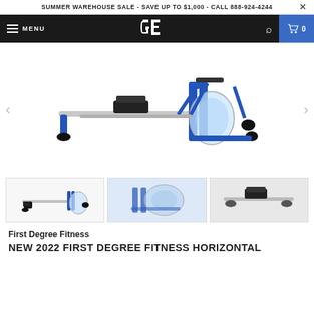SUMMER WAREHOUSE SALE - SAVE UP TO $1,000 - CALL 888-924-4244
[Figure (screenshot): Navigation bar with hamburger menu, GE logo, search icon, and cart showing 0 items]
[Figure (photo): Main product photo of a blue First Degree Fitness horizontal water rowing machine with navigation arrows on left and right]
[Figure (photo): Three thumbnail images of the rowing machine: full side view, close-up of water tank mechanism, and close-up of seat/track]
First Degree Fitness
NEW 2022 FIRST DEGREE FITNESS HORIZONTAL